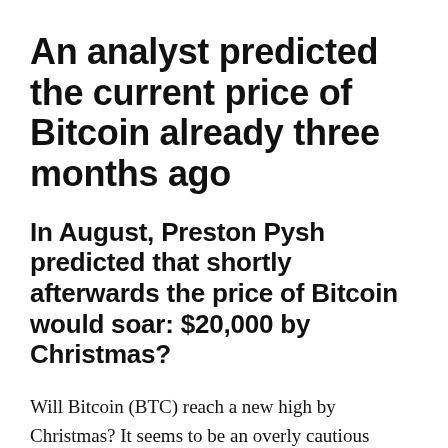An analyst predicted the current price of Bitcoin already three months ago
In August, Preston Pysh predicted that shortly afterwards the price of Bitcoin would soar: $20,000 by Christmas?
Will Bitcoin (BTC) reach a new high by Christmas? It seems to be an overly cautious forecast given the latest developments, but an